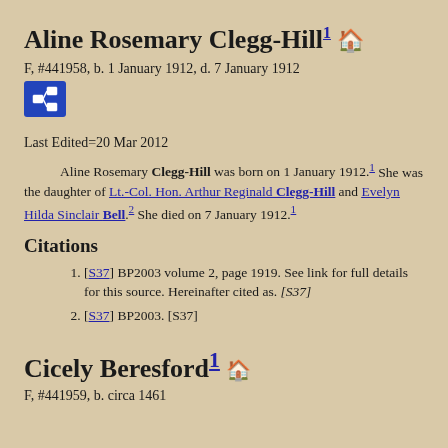Aline Rosemary Clegg-Hill¹ 🔒
F, #441958, b. 1 January 1912, d. 7 January 1912
[Figure (other): Pedigree/relationship chart icon button (blue square with family tree icon)]
Last Edited=20 Mar 2012
Aline Rosemary Clegg-Hill was born on 1 January 1912.¹ She was the daughter of Lt.-Col. Hon. Arthur Reginald Clegg-Hill and Evelyn Hilda Sinclair Bell.² She died on 7 January 1912.¹
Citations
[S37] BP2003 volume 2, page 1919. See link for full details for this source. Hereinafter cited as. [S37]
[S37] BP2003. [S37]
Cicely Beresford¹ 🔒
F, #441959, b. circa 1461